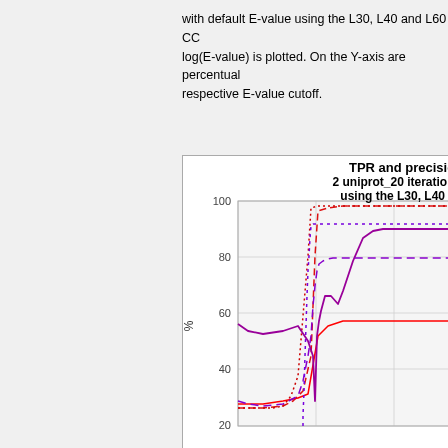with default E-value using the L30, L40 and L60 CC... log(E-value) is plotted. On the Y-axis are percentual... respective E-value cutoff.
[Figure (line-chart): Line chart showing TPR and precision vs E-value for multiple series (se and pr variants for L30, L40, L60) with red and purple lines. Y-axis shows % from 20 to 100. Legend shows se and pr series lines in red (solid, dashed, dotted) and purple (solid, dashed, dotted).]